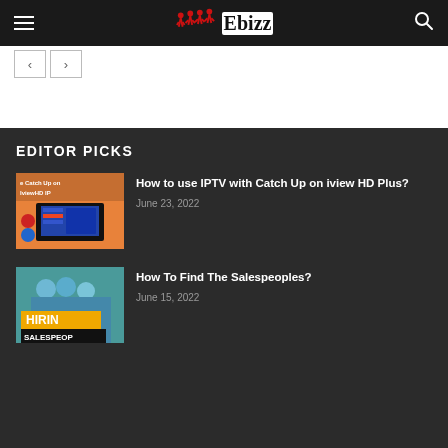Ebizz
EDITOR PICKS
How to use IPTV with Catch Up on iview HD Plus?
June 23, 2022
How To Find The Salespeoples?
June 15, 2022